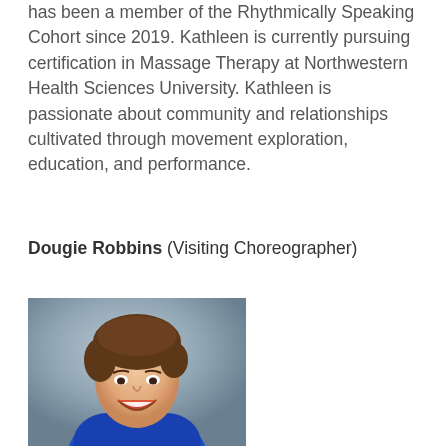has been a member of the Rhythmically Speaking Cohort since 2019. Kathleen is currently pursuing certification in Massage Therapy at Northwestern Health Sciences University. Kathleen is passionate about community and relationships cultivated through movement exploration, education, and performance.
Dougie Robbins (Visiting Choreographer)
[Figure (photo): Headshot of Dougie Robbins, a young man with brown hair, laughing and wearing a blue jacket, against a blurred grey background.]